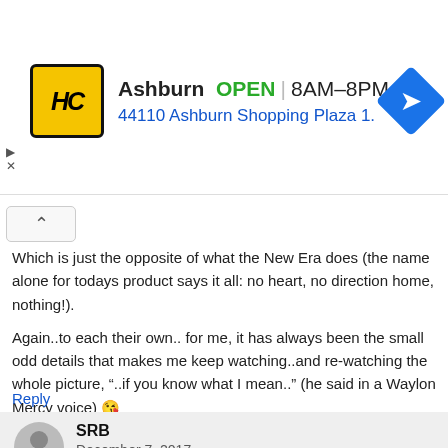[Figure (screenshot): Ad banner for HC Ashburn location, showing logo, OPEN status, hours 8AM-8PM, address 44110 Ashburn Shopping Plaza 1., and navigation icon]
Which is just the opposite of what the New Era does (the name alone for todays product says it all: no heart, no direction home, nothing!).
Again..to each their own.. for me, it has always been the small odd details that makes me keep watching..and re-watching the whole picture, “..if you know what I mean..” (he said in a Waylon Mercy voice) 😘
Reply
SRB
December 7, 2017
No question that Mero vs. Butterbean is one of the greatest matches in all of history. The precision, the complexity, the storytelling. It’s all there and it’s all incredible.